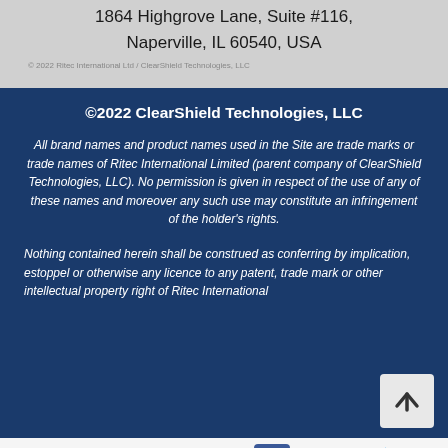1864 Highgrove Lane, Suite #116, Naperville, IL 60540, USA
© 2022 Ritec International Ltd / ClearShield Technologies, LLC
©2022 ClearShield Technologies, LLC
All brand names and product names used in the Site are trade marks or trade names of Ritec International Limited (parent company of ClearShield Technologies, LLC). No permission is given in respect of the use of any of these names and moreover any such use may constitute an infringement of the holder's rights.
Nothing contained herein shall be construed as conferring by implication, estoppel or otherwise any licence to any patent, trade mark or other intellectual property right of Ritec International